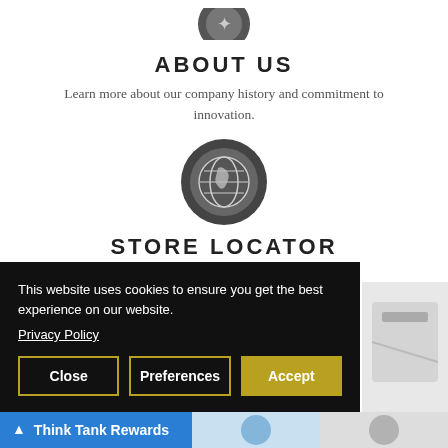[Figure (illustration): Dark circular icon representing 'About Us' section]
ABOUT US
Learn more about our company history and commitment to innovation.
[Figure (illustration): Dark circular globe/world map icon representing Store Locator]
STORE LOCATOR
Find a retailer store near you.
This website uses cookies to ensure you get the best experience on our website.
Privacy Policy
Close | Preferences | Accept
Think Tank Rewards